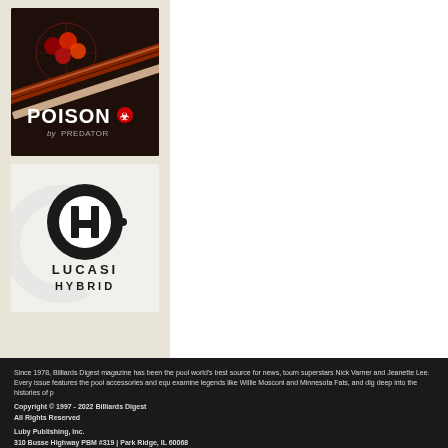[Figure (logo): Poison by Predator billiard cue advertisement — dark background with red cue and logo]
[Figure (logo): Lucasi Hybrid billiard cue advertisement — light background with black circular H logo and text LUCASI HYBRID]
Since 1978, Billiards Digest magazine has been the pool world's best source for news, tourn superstars Nick Varner and Jeanette Lee. Every issue features the pool accessories and equ examine legends like Willie Mosconi and Minnesota Fats, and dig deep into the histories of p
Copyright © 1997 - 2022 Billiards Digest
All Rights Reserved
Luby Publishing, Inc.
310 Busse Highway PBM #319 | Park Ridge, IL 60068